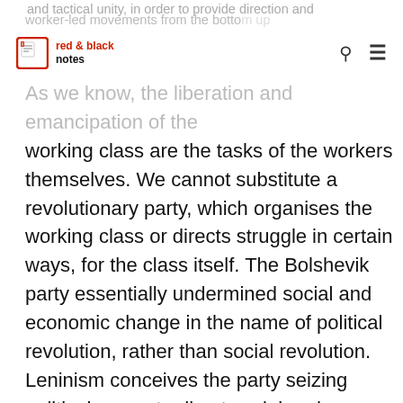and tactical unity, in order to provide direction and worker-led movements from the bottom up
As we know, the liberation and emancipation of the working class are the tasks of the workers themselves. We cannot substitute a revolutionary party, which organises the working class or directs struggle in certain ways, for the class itself. The Bolshevik party essentially undermined social and economic change in the name of political revolution, rather than social revolution. Leninism conceives the party seizing political power to direct social and economic change, but this change can only be substantiated by the working class themselves, and therefore it is their power and revolutionary capacity we should seek to build. The need for leadership in any revolutionary context is indisputable, but the modes in which this power is exercised is crucial to the end result. This is